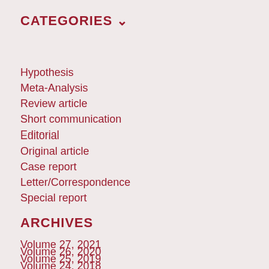CATEGORIES ▾
Hypothesis
Meta-Analysis
Review article
Short communication
Editorial
Original article
Case report
Letter/Correspondence
Special report
ARCHIVES
Volume 27, 2021
Volume 26, 2020
Volume 25, 2019
Volume 24, 2018